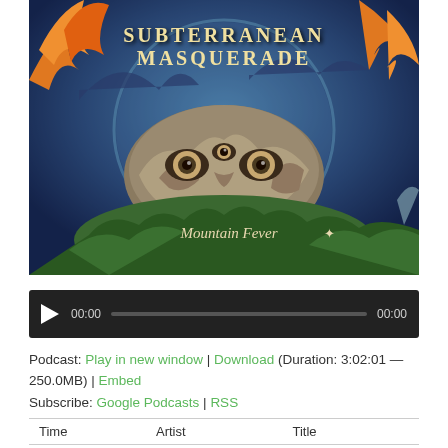[Figure (illustration): Album artwork for Subterranean Masquerade - Mountain Fever. Features surrealist illustration with a face composed of stone/rock elements with multiple eyes, surrounded by mountains, orange flames/feathers, and leafy vegetation. Text 'SUBTERRANEAN MASQUERADE' appears at top, 'Mountain Fever' appears near bottom in italic text.]
[Figure (screenshot): Audio player bar with dark background, play button (triangle), timestamp 00:00, gray progress bar, and end timestamp 00:00]
Podcast: Play in new window | Download (Duration: 3:02:01 — 250.0MB) | Embed
Subscribe: Google Podcasts | RSS
| Time | Artist | Title |
| --- | --- | --- |
| 0:00:00 | Soen | The Words |